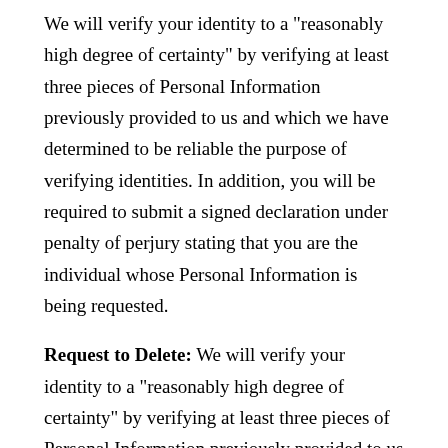We will verify your identity to a "reasonably high degree of certainty" by verifying at least three pieces of Personal Information previously provided to us and which we have determined to be reliable the purpose of verifying identities. In addition, you will be required to submit a signed declaration under penalty of perjury stating that you are the individual whose Personal Information is being requested.
Request to Delete: We will verify your identity to a "reasonably high degree of certainty" by verifying at least three pieces of Personal Information previously provided to us and which we have determined to be reliable for the purpose of verifying identities. In addition, you will be required to submit a signed declaration under penalty of perjury stating that you are the individual whose Personal Information is being requested.